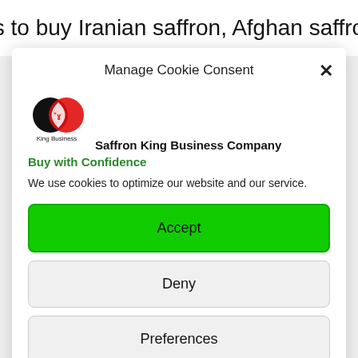us to buy Iranian saffron, Afghan saffron
Manage Cookie Consent
[Figure (logo): Saffron King Business Company logo: two overlapping circles (black and red) with a small icon, text 'King Business' below]
Saffron King Business Company
Buy with Confidence
We use cookies to optimize our website and our service.
Accept
Deny
Preferences